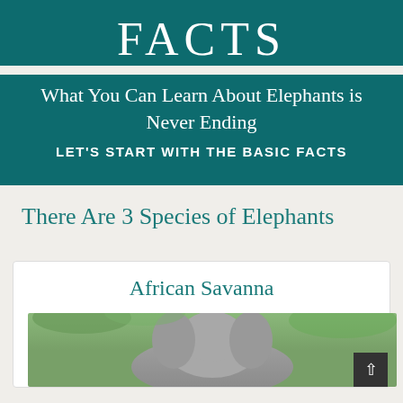FACTS
What You Can Learn About Elephants is Never Ending
LET'S START WITH THE BASIC FACTS
There Are 3 Species of Elephants
African Savanna
[Figure (photo): Photograph of an African Savanna elephant, viewed from the front/back, outdoors with green foliage in the background]